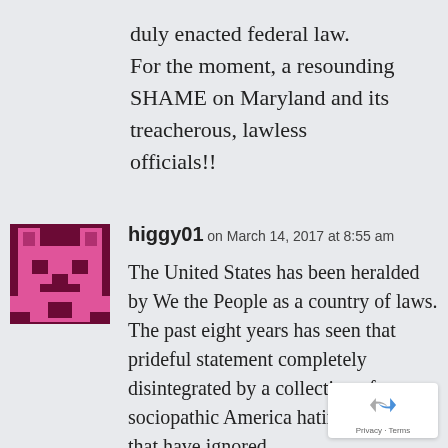duly enacted federal law. For the moment, a resounding SHAME on Maryland and its treacherous, lawless officials!!
[Figure (illustration): Pixel art avatar icon showing a stylized face/character in pink and dark maroon colors on a dark background]
higgy01 on March 14, 2017 at 8:55 am
The United States has been heralded by We the People as a country of laws. The past eight years has seen that prideful statement completely disintegrated by a collection of sociopathic America hating miscreants that have ignored